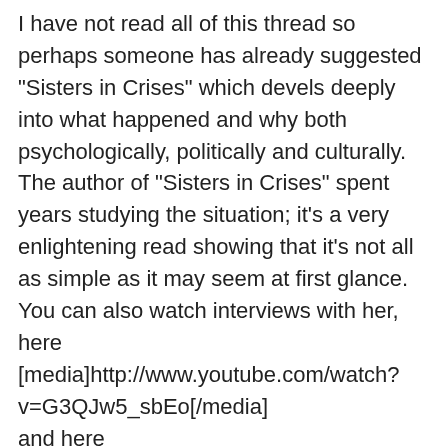I have not read all of this thread so perhaps someone has already suggested "Sisters in Crises" which devels deeply into what happened and why both psychologically, politically and culturally. The author of "Sisters in Crises" spent years studying the situation; it's a very enlightening read showing that it's not all as simple as it may seem at first glance. You can also watch interviews with her, here [media]http://www.youtube.com/watch?v=G3QJw5_sbEo[/media] and here [media]http://www.youtube.com/watch?v=xv3qvEbOAzc[/media] [/quote] Excellent summation.